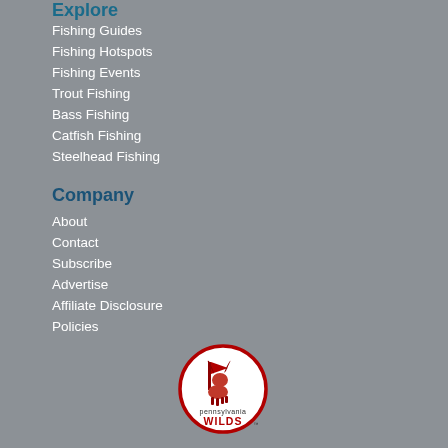Explore
Fishing Guides
Fishing Hotspots
Fishing Events
Trout Fishing
Bass Fishing
Catfish Fishing
Steelhead Fishing
Company
About
Contact
Subscribe
Advertise
Affiliate Disclosure
Policies
[Figure (logo): Pennsylvania Wilds logo — circular badge with red deer/elk silhouette and flag, text reads 'pennsylvania WILDS' with TM mark]